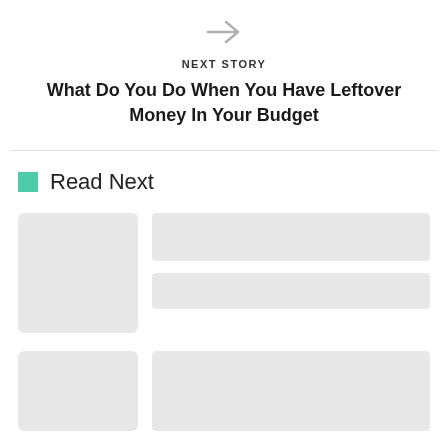[Figure (illustration): Right arrow icon in light gray]
NEXT STORY
What Do You Do When You Have Leftover Money In Your Budget
Read Next
[Figure (other): Placeholder card with gray image box and two gray text bars]
[Figure (other): Placeholder card row at bottom with gray image and gray text block]